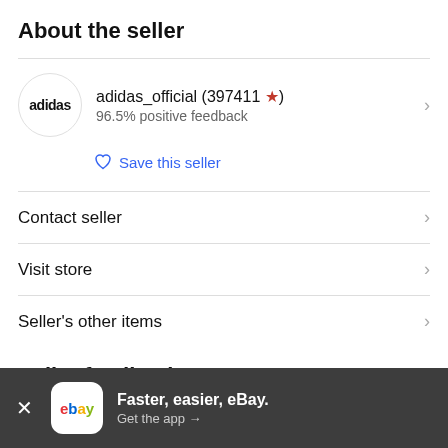About the seller
adidas_official (397411 ⭐) 96.5% positive feedback
Save this seller
Contact seller
Visit store
Seller's other items
Seller feedback
Faster, easier, eBay. Get the app →